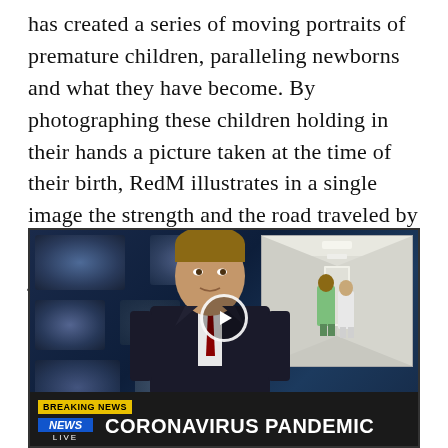has created a series of moving portraits of premature children, paralleling newborns and what they have become. By photographing these children holding in their hands a picture taken at the time of their birth, RedM illustrates in a single image the strength and the road traveled by these people who often had a difficult journey in early life.
[Figure (photo): A TV news broadcast screenshot showing a male news anchor in a dark suit with a red tie, sitting at a desk against a blue studio background with multiple screens. In the upper right corner, an inset image shows medical workers in green scrubs walking down a hospital corridor. A play button icon is overlaid in the center. At the bottom, a breaking news banner reads 'BREAKING NEWS' in yellow, with a blue 'NEWS LIVE' tag and the headline 'CORONAVIRUS PANDEMIC' in white bold text on a dark background.]